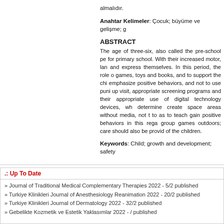almalıdır.
Anahtar Kelimeler: Çocuk; büyüme ve gelişme; g
ABSTRACT
The age of three-six, also called the pre-school pe for primary school. With their increased motor, lan and express themselves. In this period, the role o games, toys and books, and to support the chi emphasize positive behaviors, and not to use puni up visit, appropriate screening programs and their appropriate use of digital technology devices, wh determine create space areas without media, not t to as to teach gain positive behaviors in this rega group games outdoors; care should also be provid of the children.
Keywords: Child; growth and development; safety
.: Up To Date
» Journal of Traditional Medical Complementary Therapies 2022 - 5/2 published
» Turkiye Klinikleri Journal of Anesthesiology Reanimation 2022 - 20/2 published
» Turkiye Klinikleri Journal of Dermatology 2022 - 32/2 published
» Gebelikte Kozmetik ve Estetik Yaklasımlar 2022 - / published